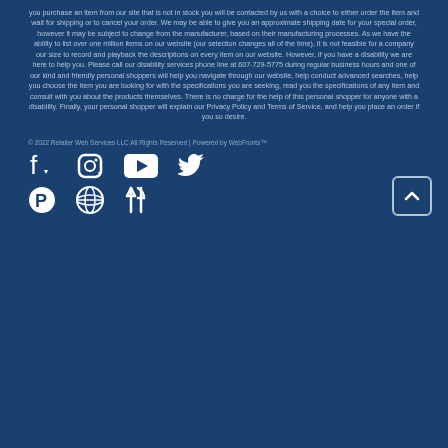you purchase an item from our site that is not in stock you will be contacted by us with a choice to either order the item and wait for shipping or to cancel your order. We may be able to give you an approximate shipping date for your special order, however it may be subject to change from the manufacturer, based on their manufacturing processes. As we have the ability to list over one million items on our website (our selection changes all of the time), it is not feasible for a company our size to record and playback the descriptions on every item on our website. However, if you have a disability we are here to help you. Please call our disability services phone line at 607-729-5775 during regular business hours and one of our kind and friendly personal shoppers will help you navigate through our website, help conduct advanced searches, help you choose the item you are looking for with the specifications you are seeking, read you the specifications of any item and consult with you about the products themselves. There is no charge for the help of this personal shopper for anyone with a disability. Finally, your personal shopper will explain our Privacy Policy and Terms of Service, and help you place an order if you so desire.
© 2022 Retailer Web Services LLC All Rights Reserved | Powered by WebFronts™
[Figure (other): Social media icons row 1: Facebook, Instagram, YouTube, Twitter]
[Figure (other): Social media icons row 2: Pinterest, WordPress, Dining/Fork-knife icon, and scroll-to-top button]